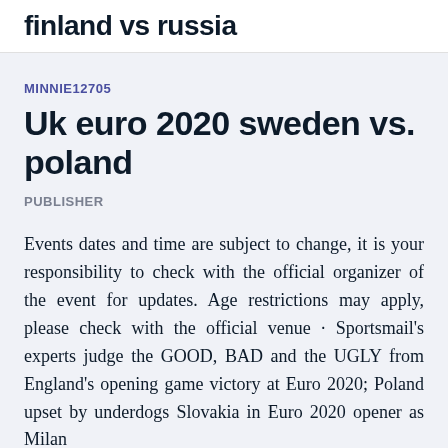finland vs russia
MINNIE12705
Uk euro 2020 sweden vs. poland
PUBLISHER
Events dates and time are subject to change, it is your responsibility to check with the official organizer of the event for updates. Age restrictions may apply, please check with the official venue · Sportsmail's experts judge the GOOD, BAD and the UGLY from England's opening game victory at Euro 2020; Poland upset by underdogs Slovakia in Euro 2020 opener as Milan